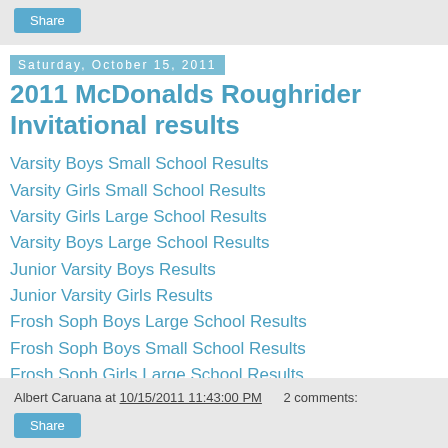Share
Saturday, October 15, 2011
2011 McDonalds Roughrider Invitational results
Varsity Boys Small School Results
Varsity Girls Small School Results
Varsity Girls Large School Results
Varsity Boys Large School Results
Junior Varsity Boys Results
Junior Varsity Girls Results
Frosh Soph Boys Large School Results
Frosh Soph Boys Small School Results
Frosh Soph Girls Large School Results
Frosh Soph Girls Small School Results
Albert Caruana at 10/15/2011 11:43:00 PM   2 comments: